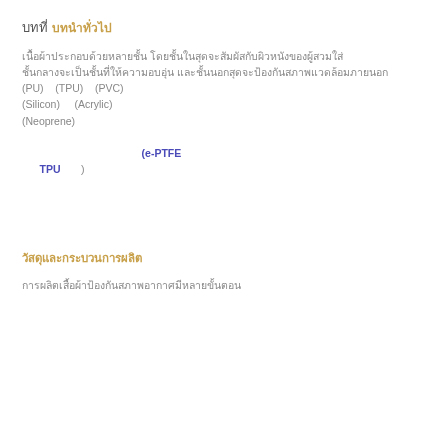บทที่
บทนำทั่วไป
เนื้อผ้าประกอบด้วยหลายชั้น โดยชั้นในสุดจะสัมผัสกับผิวหนังของผู้สวมใส่ ชั้นกลางจะเป็นชั้นที่ให้ความอบอุ่น และชั้นนอกสุดจะป้องกันสภาพแวดล้อมภายนอก วัสดุที่ใช้ในการผลิตได้แก่ โพลียูรีเทน (PU) โพลียูรีเทนเทอร์โมพลาสติก (TPU) โพลีไวนิลคลอไรด์ (PVC) ซิลิโคน (Silicon) อะคริลิก (Acrylic) และนีโอพรีน (Neoprene) ซึ่งแต่ละชนิดมีคุณสมบัติที่แตกต่างกัน นอกจากนี้ยังมีการใช้วัสดุที่มีความก้าวหน้าทางเทคโนโลยี เช่น เมมเบรน (e-PTFE และ TPU เมมเบรน) ซึ่งช่วยให้ผ้ามีคุณสมบัติกันน้ำและระบายอากาศได้ดี
วัสดุและกระบวนการผลิต
การผลิตเสื้อผ้าป้องกันสภาพอากาศมีหลายขั้นตอน